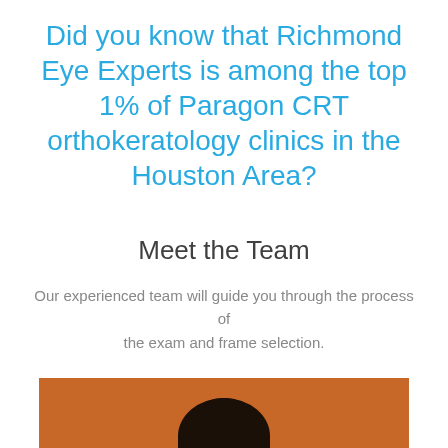Did you know that Richmond Eye Experts is among the top 1% of Paragon CRT orthokeratology clinics in the Houston Area?
Meet the Team
Our experienced team will guide you through the process of the exam and frame selection.
[Figure (photo): Photo of a team member with dark hair against an orange/terracotta background, partially cropped. A dark teal chat bubble icon is overlaid in the bottom right.]